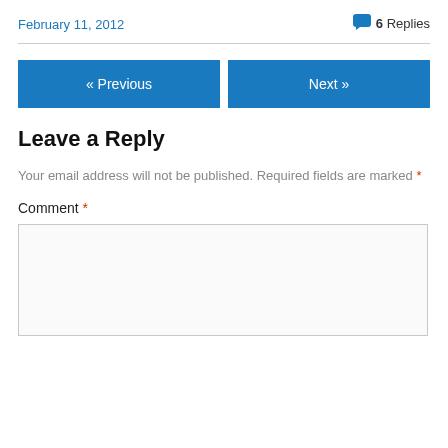February 11, 2012
6 Replies
« Previous
Next »
Leave a Reply
Your email address will not be published. Required fields are marked *
Comment *